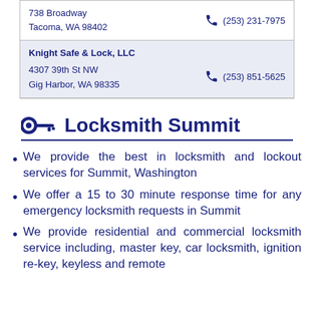| 738 Broadway
Tacoma, WA 98402 | (253) 231-7975 |
| Knight Safe & Lock, LLC
4307 39th St NW
Gig Harbor, WA 98335 | (253) 851-5625 |
Locksmith Summit
We provide the best in locksmith and lockout services for Summit, Washington
We offer a 15 to 30 minute response time for any emergency locksmith requests in Summit
We provide residential and commercial locksmith service including, master key, car locksmith, ignition re-key, keyless and remote